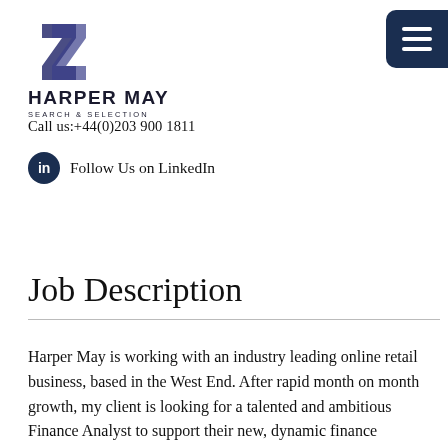[Figure (logo): Harper May Search & Selection logo with stylized 'M' icon and company name]
[Figure (other): Dark navy hamburger menu button in top-right corner]
Call us:+44(0)203 900 1811
Follow Us on LinkedIn
Job Description
Harper May is working with an industry leading online retail business, based in the West End. After rapid month on month growth, my client is looking for a talented and ambitious Finance Analyst to support their new, dynamic finance